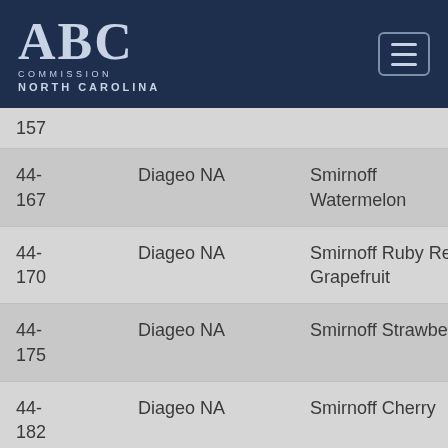ABC Commission North Carolina
| Code | Supplier | Product |  |
| --- | --- | --- | --- |
| 157 |  |  |  |
| 44-167 | Diageo NA | Smirnoff Watermelon |  |
| 44-170 | Diageo NA | Smirnoff Ruby Red Grapefruit |  |
| 44-175 | Diageo NA | Smirnoff Strawberry |  |
| 44-182 | Diageo NA | Smirnoff Cherry |  |